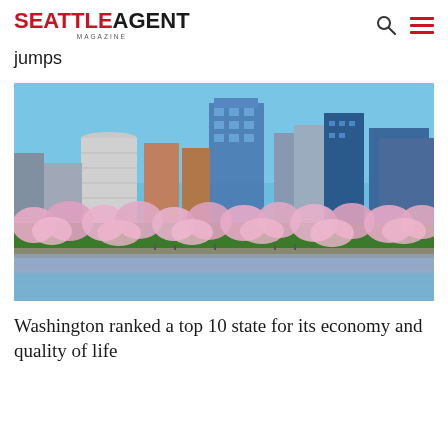SEATTLE AGENT MAGAZINE
jumps
[Figure (photo): City skyline with modern office buildings and cherry blossom trees in bloom along a waterfront, reflected in the water below. Clear blue sky in the background.]
Washington ranked a top 10 state for its economy and quality of life